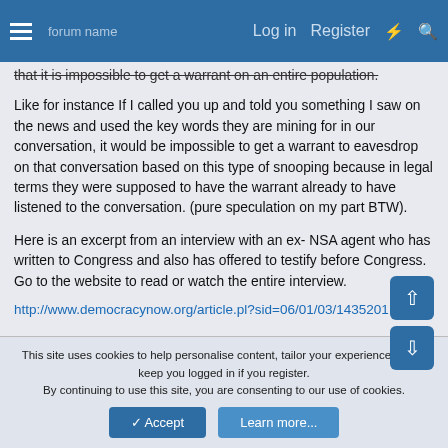Log in  Register
that it is impossible to get a warrant on an entire population.
Like for instance If I called you up and told you something I saw on the news and used the key words they are mining for in our conversation, it would be impossible to get a warrant to eavesdrop on that conversation based on this type of snooping because in legal terms they were supposed to have the warrant already to have listened to the conversation. (pure speculation on my part BTW).
Here is an excerpt from an interview with an ex- NSA agent who has written to Congress and also has offered to testify before Congress. Go to the website to read or watch the entire interview.
http://www.democracynow.org/article.pl?sid=06/01/03/1435201
This site uses cookies to help personalise content, tailor your experience and to keep you logged in if you register.
By continuing to use this site, you are consenting to our use of cookies.